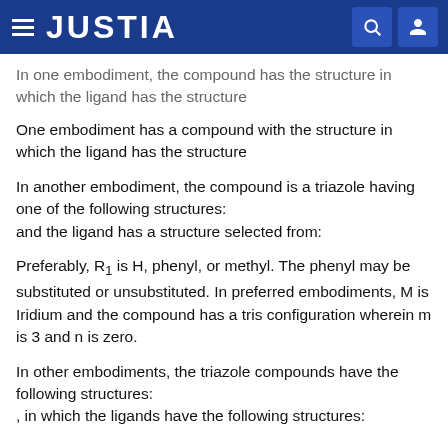JUSTIA
In one embodiment, the compound has the structure in which the ligand has the structure
One embodiment has a compound with the structure in which the ligand has the structure
In another embodiment, the compound is a triazole having one of the following structures: and the ligand has a structure selected from:
Preferably, R1 is H, phenyl, or methyl. The phenyl may be substituted or unsubstituted. In preferred embodiments, M is Iridium and the compound has a tris configuration wherein m is 3 and n is zero.
In other embodiments, the triazole compounds have the following structures: , in which the ligands have the following structures: